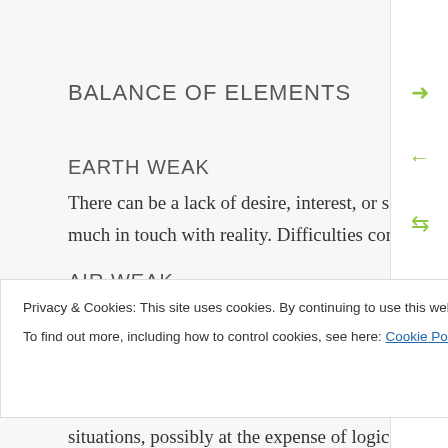BALANCE OF ELEMENTS
EARTH WEAK
There can be a lack of desire, interest, or skills regarding practical affairs. We may not be very much in touch with reality. Difficulties concentrating, grounding ourselves.
AIR WEAK
Privacy & Cookies: This site uses cookies. By continuing to use this website, you agree to their use.
To find out more, including how to control cookies, see here: Cookie Policy
situations, possibly at the expense of logic or